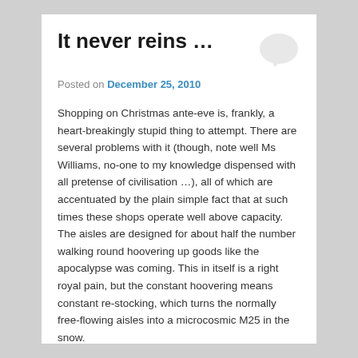It never reins …
Posted on December 25, 2010
Shopping on Christmas ante-eve is, frankly, a heart-breakingly stupid thing to attempt. There are several problems with it (though, note well Ms Williams, no-one to my knowledge dispensed with all pretense of civilisation …), all of which are accentuated by the plain simple fact that at such times these shops operate well above capacity. The aisles are designed for about half the number walking round hoovering up goods like the apocalypse was coming. This in itself is a right royal pain, but the constant hoovering means constant re-stocking, which turns the normally free-flowing aisles into a microcosmic M25 in the snow.
But this is not very exciting, or even interesting. I buy lots of stuff, and have a discussion regarding the pronunciation of paprika. Is it papp – reeka, or is it